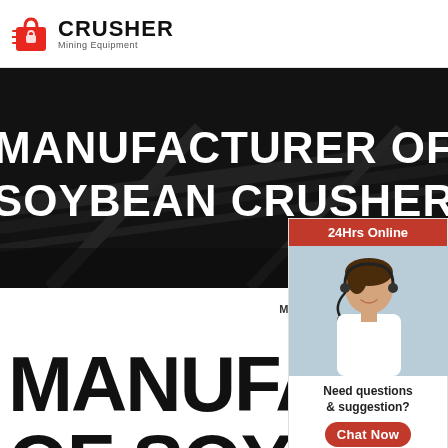[Figure (logo): Red shopping bag with lightning bolt icon and text CRUSHER Mining Equipment]
[Figure (photo): Dark industrial conveyor belt / mining equipment facility background hero image with white bold text: MANUFACTURER OF SOYBEAN CRUSHER]
HOME → PRODUCT → MANUFACTURER OF SOYBEAN CRU
MANUFACTUR OF SOYBEAN
[Figure (photo): 24Hrs Online customer service representative with headset, smiling woman photo]
Need questions & suggestion?
Chat Now
Enquiry
mumumugoods@gmail.com